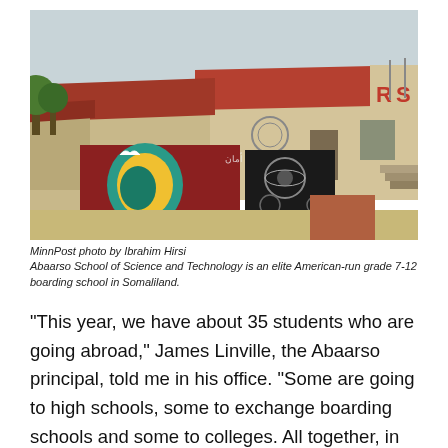[Figure (photo): Exterior view of Abaarso School of Science and Technology in Somaliland. Low beige buildings with red tile roofs. In the foreground, a wall painted with colorful murals depicting Africa and science imagery. Letters 'R S' visible on a sign at right. Arid landscape visible in background.]
MinnPost photo by Ibrahim Hirsi
Abaarso School of Science and Technology is an elite American-run grade 7-12 boarding school in Somaliland.
“This year, we have about 35 students who are going abroad,” James Linville, the Abaarso principal, told me in his office. “Some are going to high schools, some to exchange boarding schools and some to colleges. All together, in the